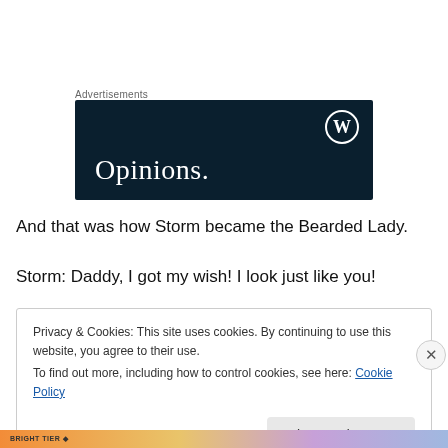Advertisements
[Figure (logo): Dark navy advertisement banner with WordPress logo icon in top right and the word 'Opinions.' in large white serif font at bottom left]
And that was how Storm became the Bearded Lady.
Storm: Daddy, I got my wish! I look just like you!
Privacy & Cookies: This site uses cookies. By continuing to use this website, you agree to their use.
To find out more, including how to control cookies, see here: Cookie Policy
Close and accept